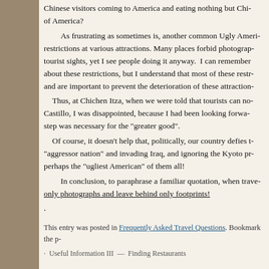Chinese visitors coming to America and eating nothing but Chi... of America?
As frustrating as sometimes is, another common Ugly Ameri... restrictions at various attractions. Many places forbid photograp... tourist sights, yet I see people doing it anyway. I can remember... about these restrictions, but I understand that most of these restr... and are important to prevent the deterioration of these attraction...
Thus, at Chichen Itza, when we were told that tourists can no... Castillo, I was disappointed, because I had been looking forwar... step was necessary for the "greater good".
Of course, it doesn't help that, politically, our country defies t... "aggressor nation" and invading Iraq, and ignoring the Kyoto pr... perhaps the "ugliest American" of them all!
In conclusion, to paraphrase a familiar quotation, when trave... only photographs and leave behind only footprints!
.
This entry was posted in Frequently Asked Travel Questions. Bookmark the p...
Useful Information III — Finding Restaurants